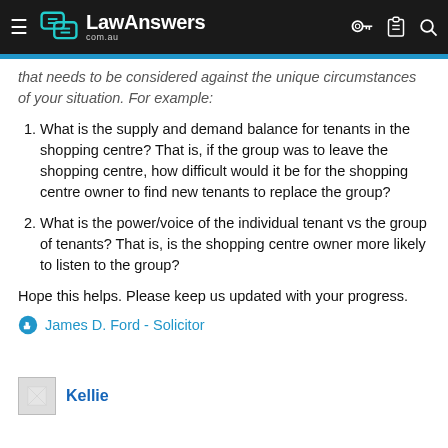LawAnswers com.au
that needs to be considered against the unique circumstances of your situation. For example:
What is the supply and demand balance for tenants in the shopping centre? That is, if the group was to leave the shopping centre, how difficult would it be for the shopping centre owner to find new tenants to replace the group?
What is the power/voice of the individual tenant vs the group of tenants? That is, is the shopping centre owner more likely to listen to the group?
Hope this helps. Please keep us updated with your progress.
James D. Ford - Solicitor
Kellie